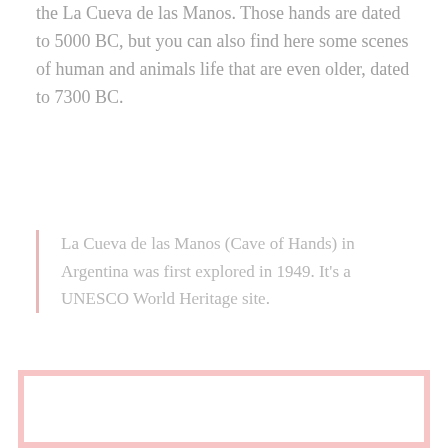the La Cueva de las Manos. Those hands are dated to 5000 BC, but you can also find here some scenes of human and animals life that are even older, dated to 7300 BC.
La Cueva de las Manos (Cave of Hands) in Argentina was first explored in 1949. It's a UNESCO World Heritage site.
[Figure (other): A white rectangle with a pink/salmon border, representing an image placeholder.]